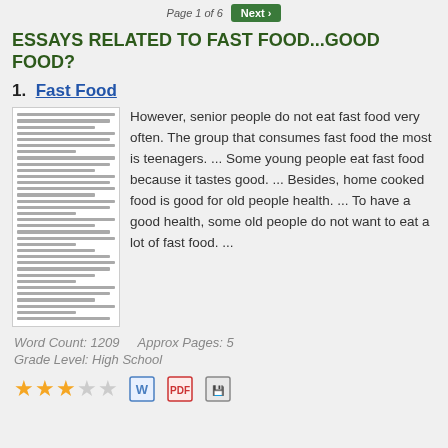Page 1 of 6   Next >
ESSAYS RELATED TO FAST FOOD...GOOD FOOD?
1.  Fast Food
[Figure (screenshot): Thumbnail preview of an essay document page with small illegible text lines]
However, senior people do not eat fast food very often. The group that consumes fast food the most is teenagers. ... Some young people eat fast food because it tastes good. ... Besides, home cooked food is good for old people health. ... To have a good health, some old people do not want to eat a lot of fast food. ...
Word Count: 1209     Approx Pages: 5
Grade Level: High School